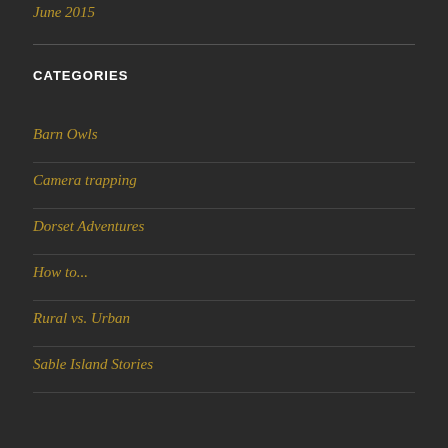June 2015
CATEGORIES
Barn Owls
Camera trapping
Dorset Adventures
How to...
Rural vs. Urban
Sable Island Stories